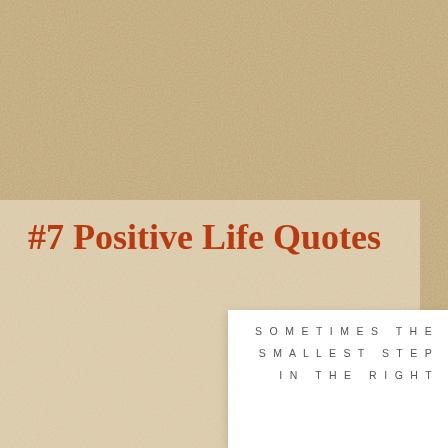[Figure (illustration): Tan/beige textured linen-like background covering the full page]
#7 Positive Life Quotes
[Figure (illustration): White card partially visible in the lower-right corner containing spaced-letter quote text: SOMETIMES THE SMALLEST STEP IN THE RIGHT]
SOMETIMES THE SMALLEST STEP IN THE RIGHT